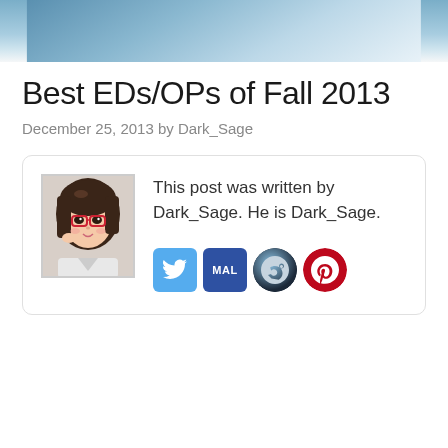[Figure (illustration): Partial image at top of page, appears to be an anime-style illustration cropped to show only upper portion]
Best EDs/OPs of Fall 2013
December 25, 2013 by Dark_Sage
[Figure (illustration): Author card with anime avatar of a girl with brown hair and red glasses, social media icons for Twitter, MAL, Steam, and Pinterest]
This post was written by Dark_Sage. He is Dark_Sage.